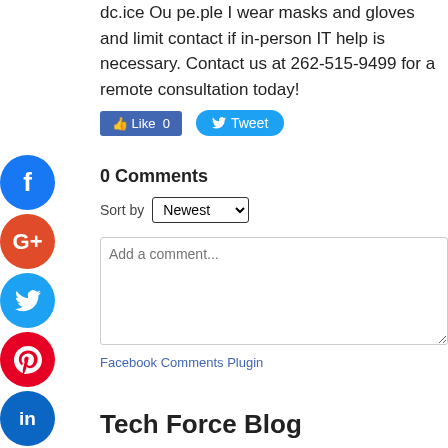device Our people I wear masks and gloves and limit contact if in-person IT help is necessary. Contact us at 262-515-9499 for a remote consultation today!
[Figure (infographic): Social media share buttons sidebar: Facebook (blue circle), Google+ (red circle), Twitter (blue circle), Pinterest (red circle), LinkedIn (blue circle), Instagram (pink/gradient circle), More (gray circle)]
Like 0   Tweet
0 Comments
Sort by Newest
Add a comment...
Facebook Comments Plugin
Tech Force Blog